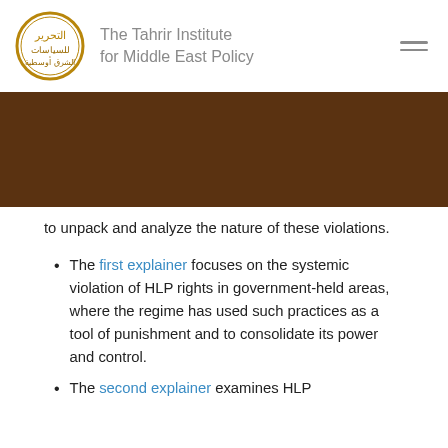[Figure (logo): The Tahrir Institute for Middle East Policy logo — circular emblem with Arabic calligraphy in gold/brown tones, with institute name in grey text beside it]
to unpack and analyze the nature of these violations.
The first explainer focuses on the systemic violation of HLP rights in government-held areas, where the regime has used such practices as a tool of punishment and to consolidate its power and control.
The second explainer examines HLP